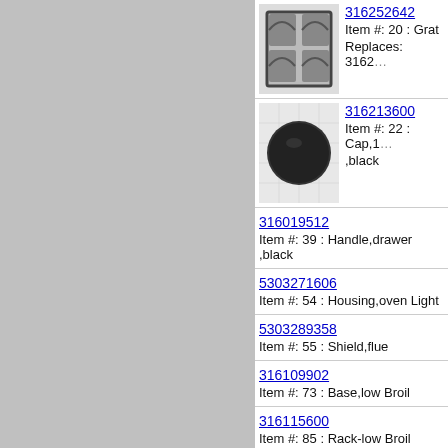[Figure (photo): Grate/burner grate part photo]
316252642
Item #: 20 : Grat
Replaces: 3162
[Figure (photo): Black round cap/burner cap part photo]
316213600
Item #: 22 : Cap,1
,black
316019512
Item #: 39 : Handle,drawer ,black
5303271606
Item #: 54 : Housing,oven Light
5303289358
Item #: 55 : Shield,flue
316109902
Item #: 73 : Base,low Broil
316115600
Item #: 85 : Rack-low Broil
316099500
Item #: 88 : Pin,quide ,(2)